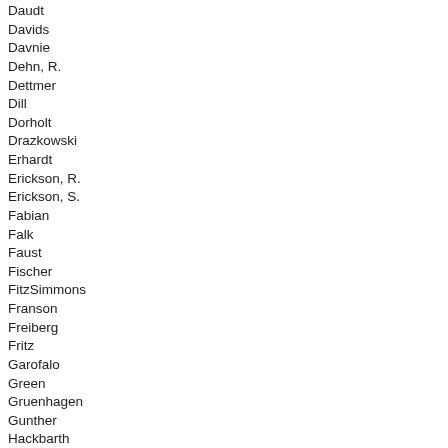Daudt
Davids
Davnie
Dehn, R.
Dettmer
Dill
Dorholt
Drazkowski
Erhardt
Erickson, R.
Erickson, S.
Fabian
Falk
Faust
Fischer
FitzSimmons
Franson
Freiberg
Fritz
Garofalo
Green
Gruenhagen
Gunther
Hackbarth
Halverson
Hamilton
Hansen
Hausman
Hertaus
Hilstrom
Holberg
Hoppe
Hornstein
Hortman
Howe
Huntley
Isaacson
Johnson, B.
Johnson, C.
Johnson, S.